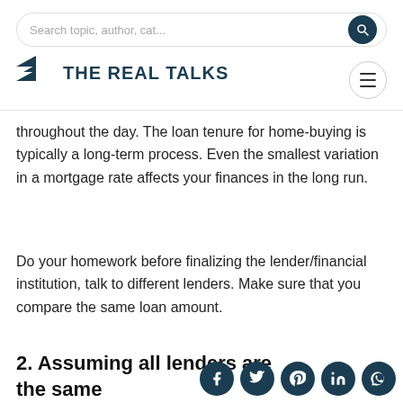Search topic, author, cat...
[Figure (logo): The Real Talks logo with arrow icon and bold text]
throughout the day. The loan tenure for home-buying is typically a long-term process. Even the smallest variation in a mortgage rate affects your finances in the long run.
Do your homework before finalizing the lender/financial institution, talk to different lenders. Make sure that you compare the same loan amount.
2. Assuming all lenders are the same